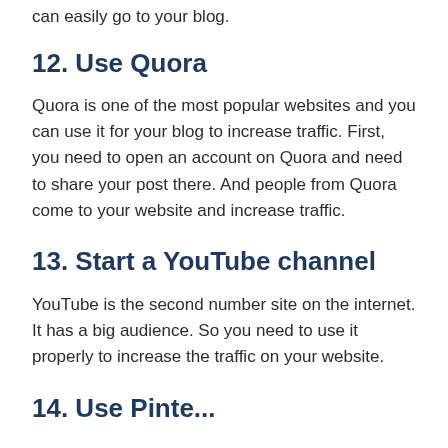can easily go to your blog.
12. Use Quora
Quora is one of the most popular websites and you can use it for your blog to increase traffic. First, you need to open an account on Quora and need to share your post there. And people from Quora come to your website and increase traffic.
13. Start a YouTube channel
YouTube is the second number site on the internet. It has a big audience. So you need to use it properly to increase the traffic on your website.
14. Use Pinte...